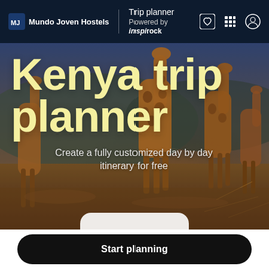Mundo Joven Hostels | Trip planner Powered by inspirock
[Figure (photo): Safari photo with giraffes in a golden savanna landscape with mountains in the background, warm amber tones]
Kenya trip planner
Create a fully customized day by day itinerary for free
Start planning